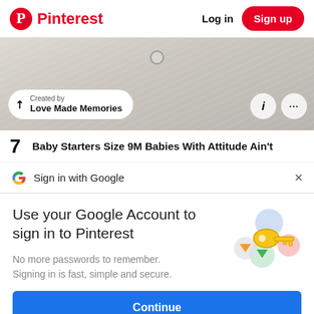Pinterest  Log in  Sign up
[Figure (screenshot): Pinterest pin image showing white fabric/clothing with a grommet, with creator badge 'Created by Love Made Memories' and action icons]
7  Baby Starters Size 9M Babies With Attitude Ain't
Sign in with Google  ×
Use your Google Account to sign in to Pinterest
No more passwords to remember. Signing in is fast, simple and secure.
Continue